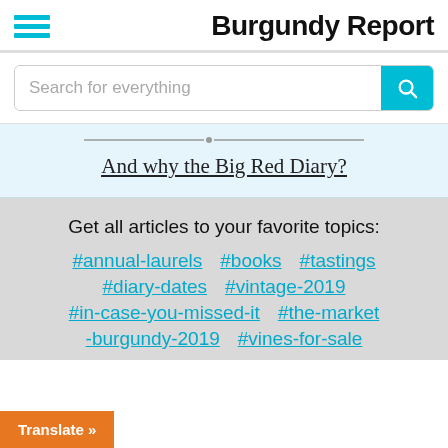Burgundy Report
Search for everything
And why the Big Red Diary?
Get all articles to your favorite topics:
#annual-laurels
#books
#tastings
#diary-dates
#vintage-2019
#in-case-you-missed-it
#the-market
-burgundy-2019
#vines-for-sale
Translate »